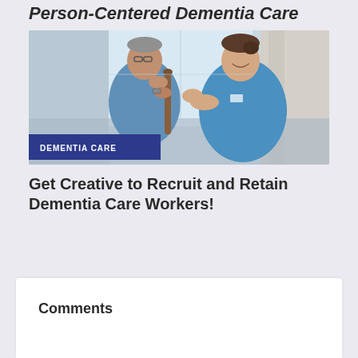Person-Centered Dementia Care
[Figure (photo): An elderly man in a blue shirt holding a wooden cane with both hands, interacting with a smiling female healthcare worker in blue scrubs. Bright window with curtains in background.]
DEMENTIA CARE
Get Creative to Recruit and Retain Dementia Care Workers!
Comments